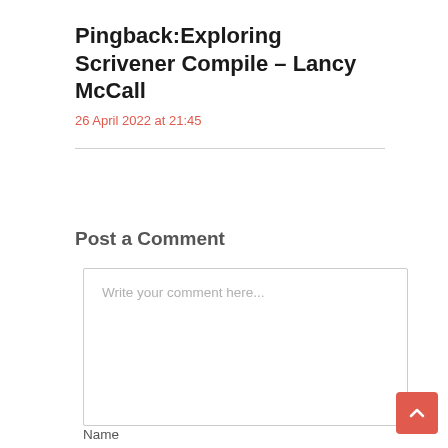Pingback:Exploring Scrivener Compile – Lancy McCall
26 April 2022 at 21:45
Post a Comment
Write your comment here...
Name